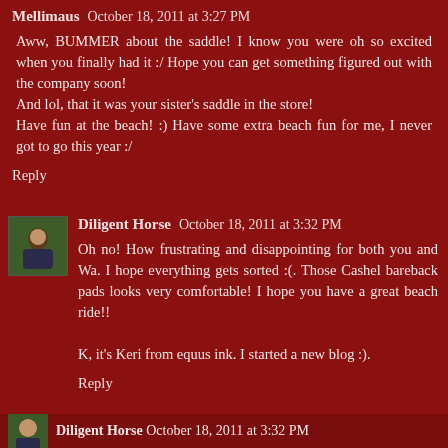Mellimaus  October 18, 2011 at 3:27 PM
Aww, BUMMER about the saddle! I know you were oh so excited when you finally had it :/ Hope you can get something figured out with the company soon! And lol, that it was your sister's saddle in the store! Have fun at the beach! :) Have some extra beach fun for me, I never got to go this year :/
Reply
[Figure (photo): Small avatar image of a person on a horse, square thumbnail]
Diligent Horse  October 18, 2011 at 3:32 PM
Oh no! How frustrating and disappointing for both you and Wa. I hope everything gets sorted :(. Those Cashel bareback pads looks very comfortable! I hope you have a great beach ride!!
K, it's Keri from equus ink. I started a new blog :).
Reply
[Figure (photo): Partial avatar image at bottom, small thumbnail]
Diligent Horse  October 18, 2011 at 3:32 PM